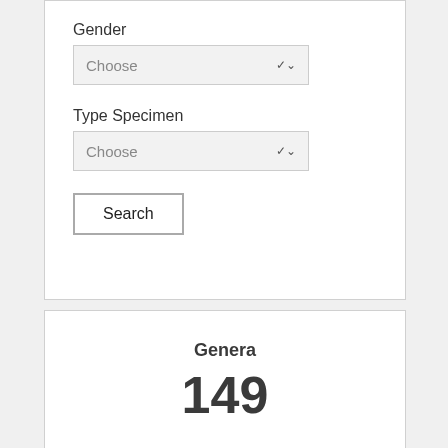Gender
Choose
Type Specimen
Choose
Search
Genera
149